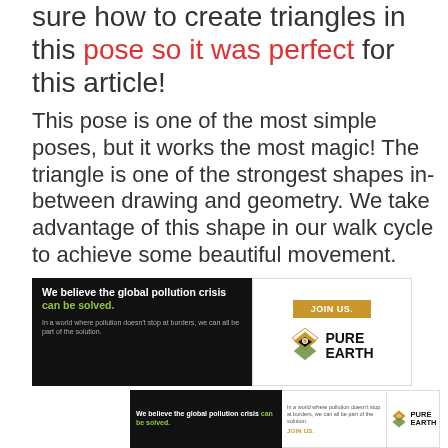sure how to create triangles in this pose so it was perfect for this article!
This pose is one of the most simple poses, but it works the most magic! The triangle is one of the strongest shapes in-between drawing and geometry. We take advantage of this shape in our walk cycle to achieve some beautiful movement.
[Figure (infographic): Pure Earth advertisement banner: black left panel with white bold text 'We believe the global pollution crisis can be solved.' and small grey body text 'In a world where pollution doesn't stop at borders, we can all be part of the solution.' Right panel white with gold 'JOIN US.' button and Pure Earth logo with icon and bold black text 'PURE EARTH'.]
[Figure (infographic): Second smaller Pure Earth advertisement banner: black left panel with white bold text 'We believe the global pollution crisis can be solved.' Center panel with small text 'In a world where pollution doesn't stop at borders, we can all be part of the solution.' and gold 'JOIN US.' text. Right panel with Pure Earth logo.]